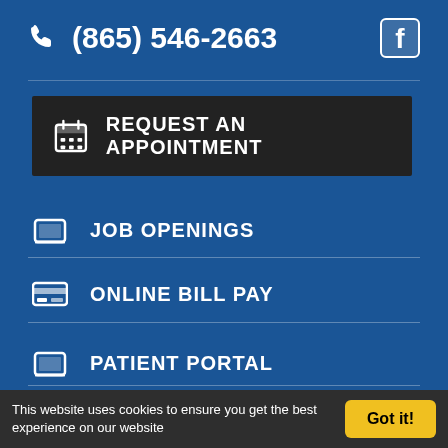(865) 546-2663
REQUEST AN APPOINTMENT
JOB OPENINGS
ONLINE BILL PAY
PATIENT PORTAL
This website uses cookies to ensure you get the best experience on our website
Got it!